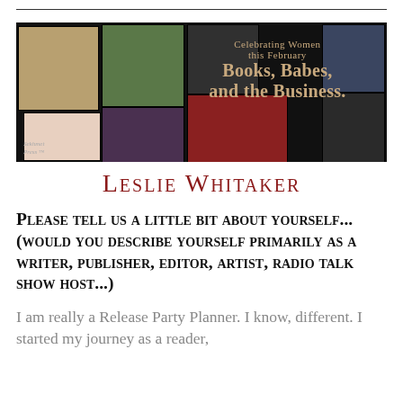[Figure (illustration): Decorative horizontal banner with black background showing a collage of women in various poses and settings (paintings, photos), with text overlay reading 'Celebrating Women this February / Books, Babes, and the Business.' in gold/cream text. Small 'Sekhmet Press' label at bottom left.]
Leslie Whitaker
Please tell us a little bit about yourself... (would you describe yourself primarily as a writer, publisher, editor, artist, radio talk show host...)
I am really a Release Party Planner. I know, different. I started my journey as a reader,